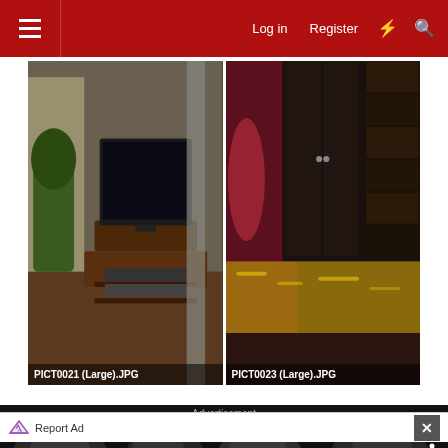Log in  Register
[Figure (photo): Room interior with TV on stand, labeled PICT0021 (Large).JPG]
[Figure (photo): Dark room interior with furniture and colored backdrop, labeled PICT0023 (Large).JPG]
Advertisement
[Figure (screenshot): Video advertisement showing 'THIS DAY IN HISTORY' with dark grayscale background of multiple faces and a play button box with blue element]
Report Ad